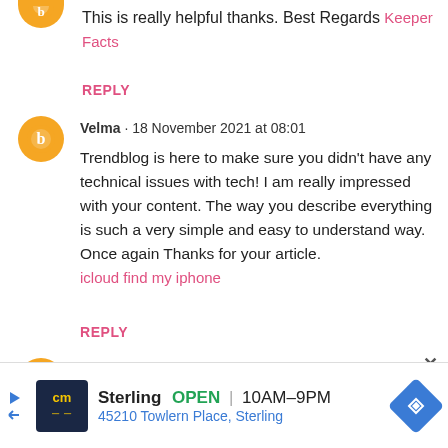This is really helpful thanks. Best Regards Keeper Facts
REPLY
Velma · 18 November 2021 at 08:01
Trendblog is here to make sure you didn't have any technical issues with tech! I am really impressed with your content. The way you describe everything is such a very simple and easy to understand way. Once again Thanks for your article.
icloud find my iphone
REPLY
Velma · 20 November 2021 at 16:15
Sterling OPEN 10AM–9PM
45210 Towlern Place, Sterling